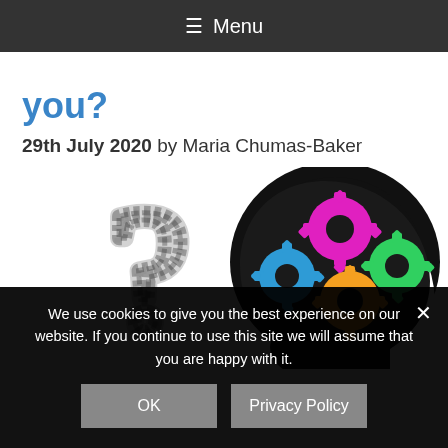≡ Menu
you?
29th July 2020 by Maria Chumas-Baker
[Figure (illustration): Left side: a sketched/hand-drawn question mark in black and white. Right side: a black silhouette of a human head profile facing left with colorful gears inside — one blue gear (left), one magenta/pink gear (top center), one orange gear (bottom center), and one green gear (right).]
We use cookies to give you the best experience on our website. If you continue to use this site we will assume that you are happy with it.